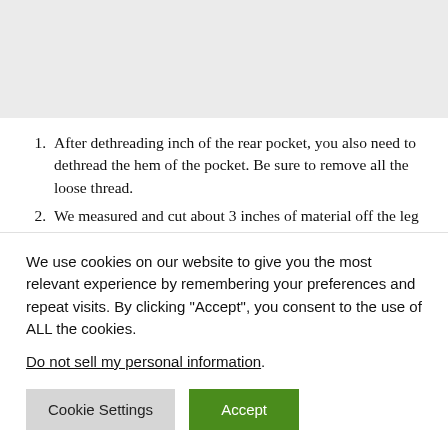After dethreading inch of the rear pocket, you also need to dethread the hem of the pocket. Be sure to remove all the loose thread.
We measured and cut about 3 inches of material off the leg length
The extension piece was cut to the shape of the pocket
We use cookies on our website to give you the most relevant experience by remembering your preferences and repeat visits. By clicking "Accept", you consent to the use of ALL the cookies.
Do not sell my personal information.